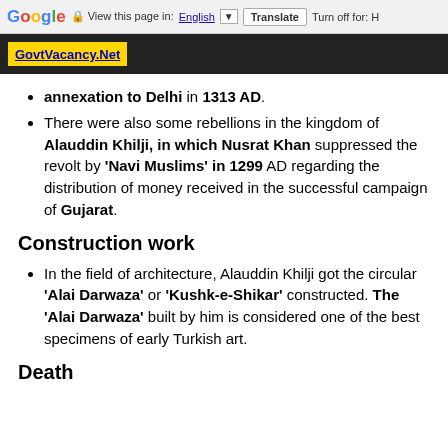Google | View this page in: English [▼] | Translate | Turn off for: H
GovtVacancy.Net
annexation to Delhi in 1313 AD.
There were also some rebellions in the kingdom of Alauddin Khilji, in which Nusrat Khan suppressed the revolt by 'Navi Muslims' in 1299 AD regarding the distribution of money received in the successful campaign of Gujarat.
Construction work
In the field of architecture, Alauddin Khilji got the circular 'Alai Darwaza' or 'Kushk-e-Shikar' constructed. The 'Alai Darwaza' built by him is considered one of the best specimens of early Turkish art.
Death